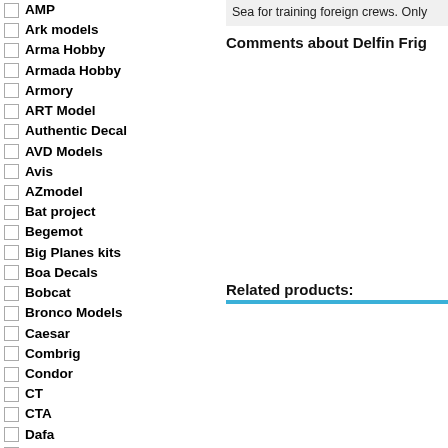AMP
Ark models
Arma Hobby
Armada Hobby
Armory
ART Model
Authentic Decal
AVD Models
Avis
AZmodel
Bat project
Begemot
Big Planes kits
Boa Decals
Bobcat
Bronco Models
Caesar
Combrig
Condor
CT
CTA
Dafa
DAN models
DDS
Dora Wings
Sea for training foreign crews. Only
Comments about Delfin Frig
Related products: